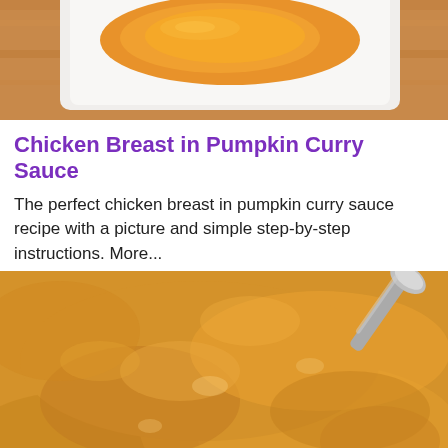[Figure (photo): Close-up photo of a white plate with an orange-sauced dish on a wooden surface, partially cropped at top.]
Chicken Breast in Pumpkin Curry Sauce
The perfect chicken breast in pumpkin curry sauce recipe with a picture and simple step-by-step instructions. More...
[Figure (photo): Close-up macro photo of thick golden-yellow pumpkin curry sauce with a metal spoon visible at the top right.]